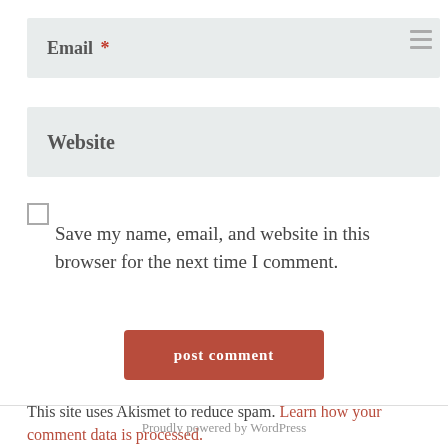Email *
Website
Save my name, email, and website in this browser for the next time I comment.
post comment
This site uses Akismet to reduce spam. Learn how your comment data is processed.
Proudly powered by WordPress